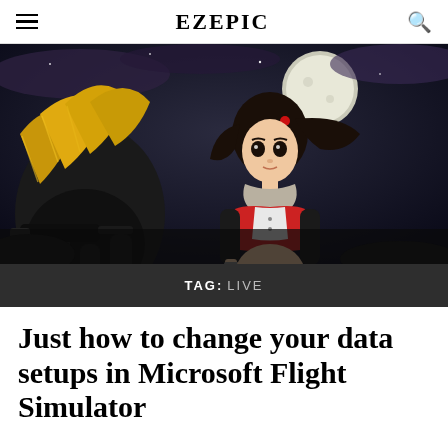EZEPIC
[Figure (illustration): Anime-style illustration of a dark-haired girl in red outfit holding a dagger, with a large golden mechanical creature in the foreground, moon in background, dark night sky]
TAG: LIVE
Just how to change your data setups in Microsoft Flight Simulator